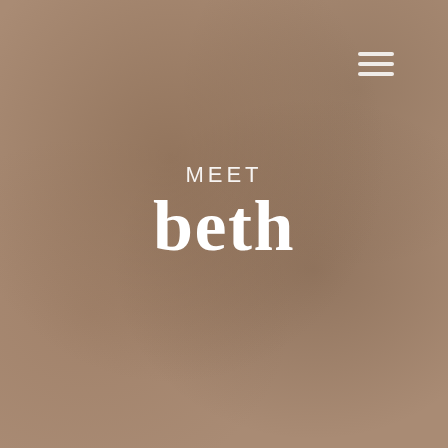[Figure (illustration): Warm taupe/brown textured background with soft mottled variation suggesting a painted or paper texture]
MEET beth